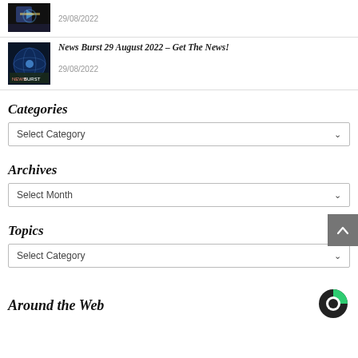[Figure (photo): Small thumbnail image, dark colors, top article]
29/08/2022
[Figure (photo): Small thumbnail image showing globe/news graphic for News Burst article]
News Burst 29 August 2022 - Get The News!
29/08/2022
Categories
Select Category
Archives
Select Month
Topics
Select Category
Around the Web
[Figure (logo): Revcontent or similar logo — dark circle with green segment]